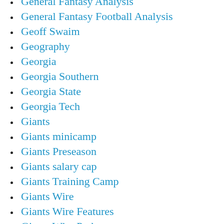General Fantasy Analysis
General Fantasy Football Analysis
Geoff Swaim
Geography
Georgia
Georgia Southern
Georgia State
Georgia Tech
Giants
Giants minicamp
Giants Preseason
Giants salary cap
Giants Training Camp
Giants Wire
Giants Wire Features
Giants Wire Podcast
Giants Wire Scouting Reports